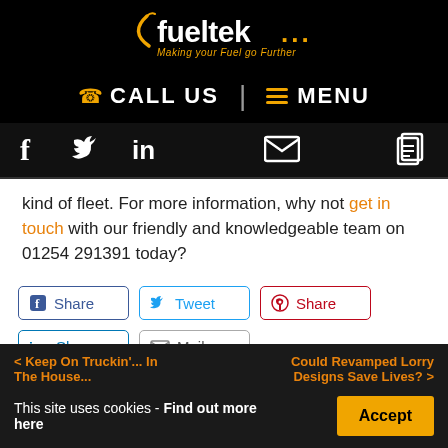[Figure (logo): Fueltek logo - white and gold text on black background reading 'fueltek...' with tagline 'Making your Fuel go Further']
CALL US | MENU
[Figure (infographic): Social media icons bar: Facebook (f), Twitter (bird), LinkedIn (in), Email (envelope), Documents icon on black background]
kind of fleet. For more information, why not get in touch with our friendly and knowledgeable team on 01254 291391 today?
[Figure (infographic): Social share buttons: Facebook Share, Twitter Tweet, Pinterest Share, LinkedIn Share, Mail]
< Keep On Truckin'... In The House... | Could Revamped Lorry Designs Save Lives? >
This site uses cookies - Find out more here